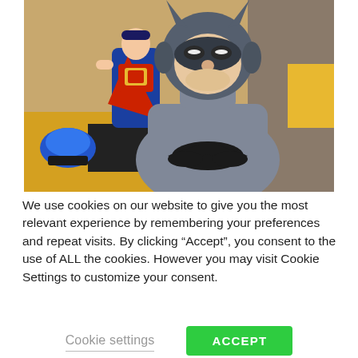[Figure (photo): Photo of Batman and Superman action figures/toys. A grey Batman toy is prominently in the foreground with a black bat symbol on chest and cowl. A red and blue Superman toy sits in the background to the left. Yellow and black surfaces visible in the background, along with a blue object on the left.]
We use cookies on our website to give you the most relevant experience by remembering your preferences and repeat visits. By clicking “Accept”, you consent to the use of ALL the cookies. However you may visit Cookie Settings to customize your consent.
Cookie settings
ACCEPT